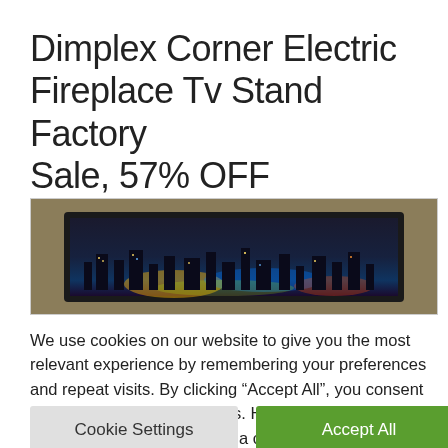Dimplex Corner Electric Fireplace Tv Stand Factory Sale, 57% OFF
[Figure (photo): Partial view of a TV mounted on a corner electric fireplace TV stand, showing a city skyline at night on the screen, with a tan/brown background behind the unit.]
We use cookies on our website to give you the most relevant experience by remembering your preferences and repeat visits. By clicking “Accept All”, you consent to the use of ALL the cookies. However, you may visit "Cookie Settings" to provide a controlled consent.
Cookie Settings   Accept All